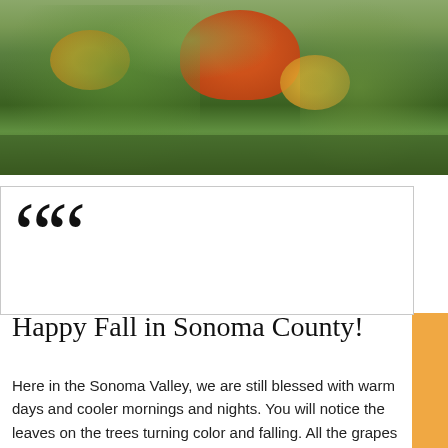[Figure (photo): A garden scene with pumpkins and large green leaves with fall foliage colors of orange, red, and green.]
““
Happy Fall in Sonoma County!
Here in the Sonoma Valley, we are still blessed with warm days and cooler mornings and nights. You will notice the leaves on the trees turning color and falling. All the grapes are being harvested and the leaves are beginning to turn yellow or red. Apples